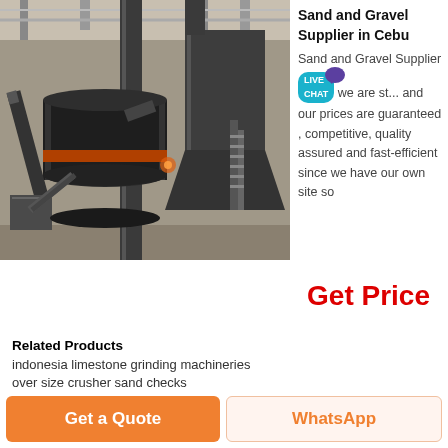[Figure (photo): Industrial grinding mill machinery inside a factory building with large cylindrical mill, pipes, and dust collector/hopper structure in background]
Sand and Gravel Supplier in Cebu
Sand and Gravel Supplier... we are ... and our prices are guaranteed , competitive, quality assured and fast-efficient since we have our own site so
Get Price
Related Products
indonesia limestone grinding machineries
over size crusher sand checks
Get a Quote
WhatsApp